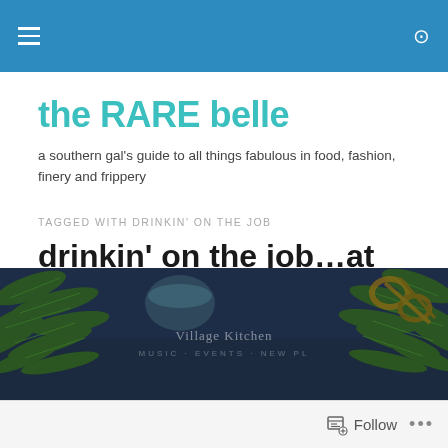Navigation bar with hamburger menu and search icon
the RARE belle
a southern gal's guide to all things fabulous in food, fashion, finery and frippery
TAGGED WITH DRINKIN' ON THE JOB
drinkin' on the job...at Village Kitchen
[Figure (photo): Dark moody overhead photo of pine branches, a bowl, and rope on a wooden table with 'Village Kitchen' text overlay]
Follow ...